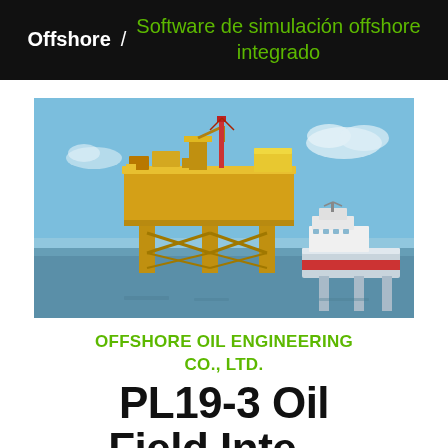Offshore / Software de simulación offshore integrado
[Figure (photo): Offshore oil platform and adjacent support vessel in open sea under blue sky. The main platform is a large yellow steel structure on legs; a smaller red-and-white vessel/platform is visible to the right.]
OFFSHORE OIL ENGINEERING CO., LTD.
PL19-3 Oil Field Integrated